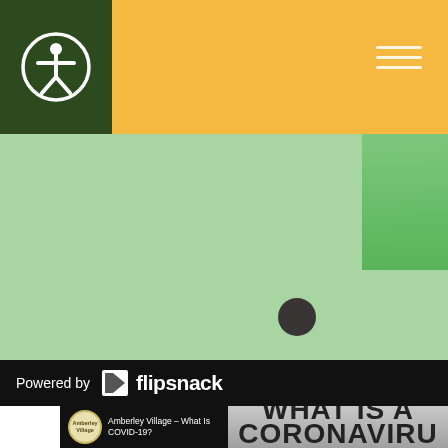[Figure (screenshot): Yellow navigation bar with dark green accessibility icon box on left (person-in-circle icon), hamburger menu icon on right]
[Figure (screenshot): Light green content strip with partial text card and green thumbnail image on right, with a dark dot/circle navigation indicator]
Powered by flipsnack
[Figure (screenshot): Amberley Village - What Is COVID-19? video thumbnail showing black panel on left with Amberley Village logo and title text, right panel showing large bold text 'WHAT IS A CORONAVIRU' on gray gradient background]